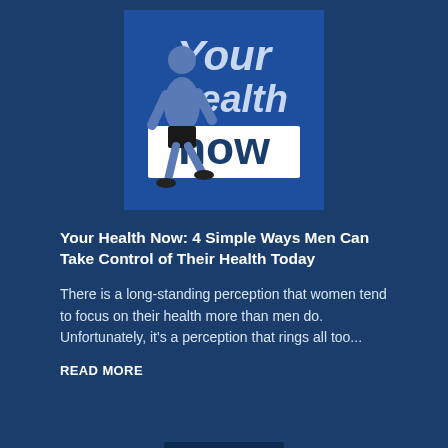[Figure (illustration): A promotional image with a dark blue background showing a man in athletic wear (grey hoodie, black shorts) mid-stride. Text on the image reads 'Your health now' in large white and light blue letters.]
Your Health Now: 4 Simple Ways Men Can Take Control of Their Health Today
There is a long-standing perception that women tend to focus on their health more than men do. Unfortunately, it's a perception that rings all too...
READ MORE